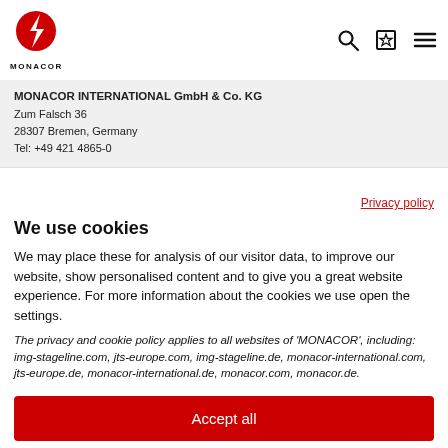[Figure (logo): MONACOR logo: red circle with white lightning bolt, text MONACOR below]
MONACOR INTERNATIONAL GmbH & Co. KG
Zum Falsch 36
28307 Bremen, Germany
Tel: +49 421 4865-0
Privacy policy
We use cookies
We may place these for analysis of our visitor data, to improve our website, show personalised content and to give you a great website experience. For more information about the cookies we use open the settings.
The privacy and cookie policy applies to all websites of 'MONACOR', including: img-stageline.com, jts-europe.com, img-stageline.de, monacor-international.com, jts-europe.de, monacor-international.de, monacor.com, monacor.de.
Accept all
Deny
No, adjust